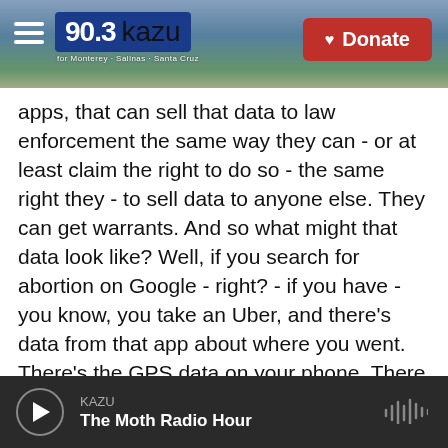[Figure (screenshot): KAZU 90.3 radio station website header with logo, hamburger menu, and red Donate button over a coastal landscape background photo]
apps, that can sell that data to law enforcement the same way they can - or at least claim the right to do so - the same right they - to sell data to anyone else. They can get warrants. And so what might that data look like? Well, if you search for abortion on Google - right? - if you have - you know, you take an Uber, and there's data from that app about where you went. There's the GPS data on your phone. There are your unencrypted text messages - a variety of things like that the government may use to try to figure out who's having an abortion. And then, of course, that would - could potentially sweep pretty broadly, right? I mean, if you're
KAZU
The Moth Radio Hour